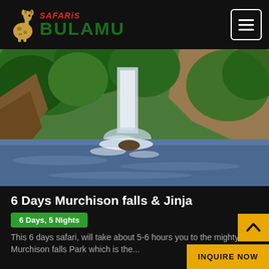Bulamu Safaris — navigation header with logo and menu button
[Figure (photo): Scenic waterfall at Murchison Falls surrounded by lush green vegetation and rocky cliffs, with rushing water in the foreground]
6 Days Murchison falls & Jinja
6 Days, 5 Nights
This 6 days safari, will take about 5-6 hours you to the mighty Murchison falls Park which is the...
INQUIRE NOW